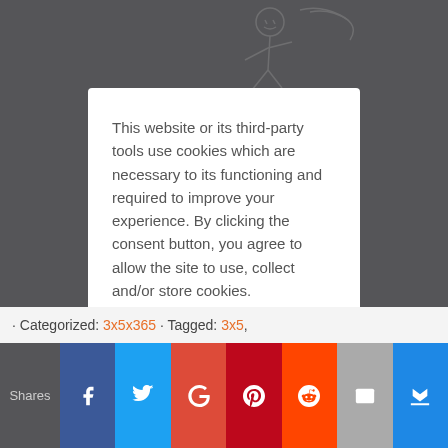[Figure (illustration): Dark grey background with faint sketch/doodle drawing at the top showing an abstract figure]
This website or its third-party tools use cookies which are necessary to its functioning and required to improve your experience. By clicking the consent button, you agree to allow the site to use, collect and/or store cookies.
I ACCEPT
· Categorized: 3x5x365 · Tagged: 3x5,
Shares